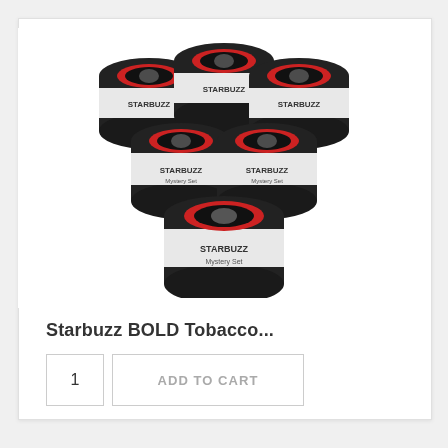[Figure (photo): Six black Starbuzz BOLD tobacco tins arranged in a triangular/pyramid formation, each with a red circle logo and white band.]
Starbuzz BOLD Tobacco...